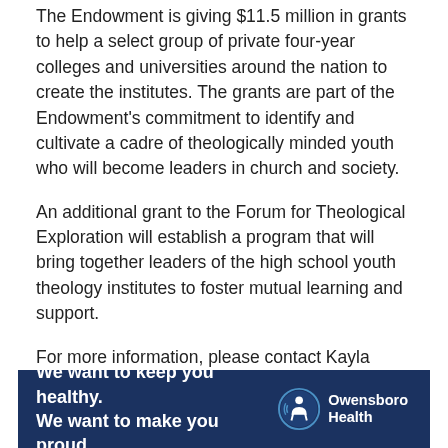The Endowment is giving $11.5 million in grants to help a select group of private four-year colleges and universities around the nation to create the institutes. The grants are part of the Endowment's commitment to identify and cultivate a cadre of theologically minded youth who will become leaders in church and society.
An additional grant to the Forum for Theological Exploration will establish a program that will bring together leaders of the high school youth theology institutes to foster mutual learning and support.
For more information, please contact Kayla Altman, Director of Public Relations and Marketing, at 270.686.2110 or kayla.altman@brescia.edu.
[Figure (infographic): Advertisement banner for Owensboro Health with dark navy background. Left side reads 'We want to keep you healthy. We want to make you proud.' in white bold text. Right side shows Owensboro Health logo with circular icon and text.]